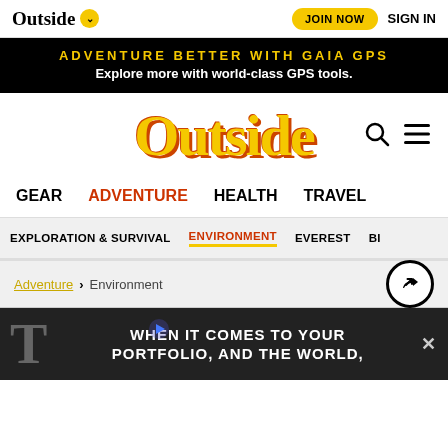Outside | JOIN NOW | SIGN IN
ADVENTURE BETTER WITH GAIA GPS
Explore more with world-class GPS tools.
Outside
GEAR  ADVENTURE  HEALTH  TRAVEL
EXPLORATION & SURVIVAL  ENVIRONMENT  EVEREST  BI...
Adventure > Environment
[Figure (screenshot): Ad banner with text: WHEN IT COMES TO YOUR PORTFOLIO, AND THE WORLD,]